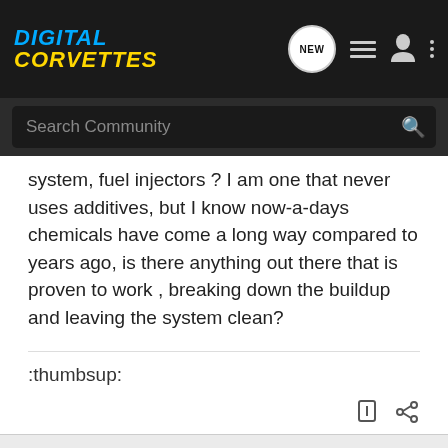[Figure (logo): Digital Corvettes logo in blue and yellow italic bold text on dark background]
system, fuel injectors ? I am one that never uses additives, but I know now-a-days chemicals have come a long way compared to years ago, is there anything out there that is proven to work , breaking down the buildup and leaving the system clean?
:thumbsup:
1 - 12 of 12 Posts
This is an older thread, you may not receive a response, and could be reviving an old thread. Please consider creating a new thread.